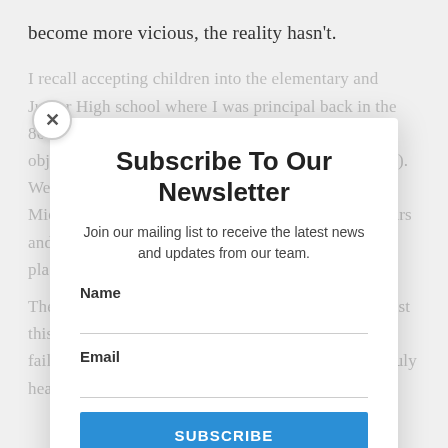become more vicious, the reality hasn't.
I recall accepting children into the elementary and Junior High school where I was principal back in the 80's (and yes, sometimes the voices of those who objected tried to drown out the voices of the children). We accepted children from Lebanon, Ethiopia, the Middle East, the terror in the Phillipines, the civil wars and revolution in Central America, and many other places.
Subscribe To Our Newsletter
Join our mailing list to receive the latest news and updates from our team.
Name
Email
SUBSCRIBE
There is one thing that is absolutely clear to me amidst this murk and evil and hatred: we, as adults, have failed, often to hear the cries of the children. If we truly heard their